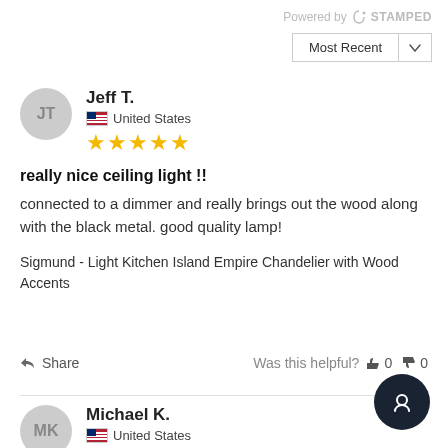Powered by STAMPED
Most Recent
Jeff T. — United States — ★★★★★
really nice ceiling light !!
connected to a dimmer and really brings out the wood along with the black metal. good quality lamp!
Sigmund - Light Kitchen Island Empire Chandelier with Wood Accents
Share   Was this helpful?  👍 0  👎 0
Michael K. — United States